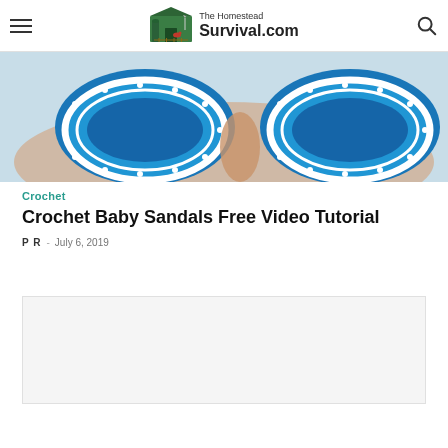The Homestead Survival.com
[Figure (photo): Close-up photo of blue and white crochet baby sandals being held in a hand]
Crochet
Crochet Baby Sandals Free Video Tutorial
P R · July 6, 2019
[Figure (other): Advertisement placeholder box]